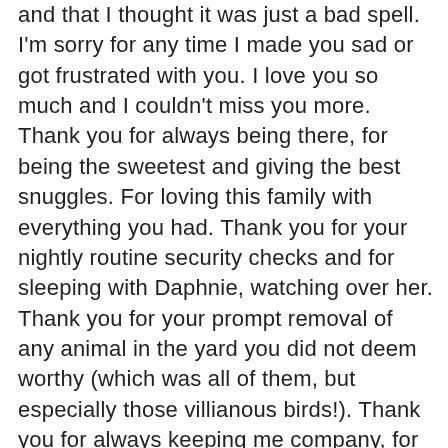and that I thought it was just a bad spell. I'm sorry for any time I made you sad or got frustrated with you. I love you so much and I couldn't miss you more. Thank you for always being there, for being the sweetest and giving the best snuggles. For loving this family with everything you had. Thank you for your nightly routine security checks and for sleeping with Daphnie, watching over her. Thank you for your prompt removal of any animal in the yard you did not deem worthy (which was all of them, but especially those villianous birds!). Thank you for always keeping me company, for being the best work buddy and seeing me through every step of my day. Thank you for giving it everything you had. You were the best companion and my best friend. I am trying to find comfort in thoughts of you hopping around up in heaven, as happy as can be, shaking and squeaking your tuppy taco or curled up by a toasty fire. I hope you are happy and in peace. Watch over us and know that we will never forget you. We love you